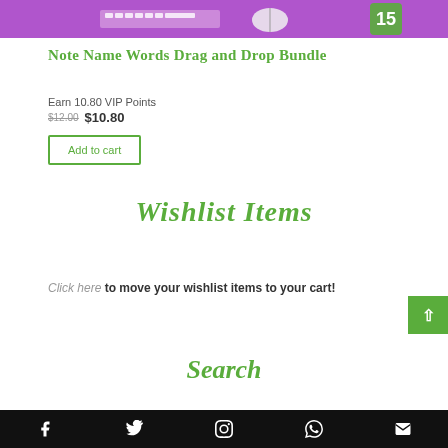[Figure (photo): Purple-themed product image strip at top of page]
Note Name Words Drag and Drop Bundle
Earn 10.80 VIP Points
$12.00 $10.80
Add to cart
Wishlist Items
Click here to move your wishlist items to your cart!
Search